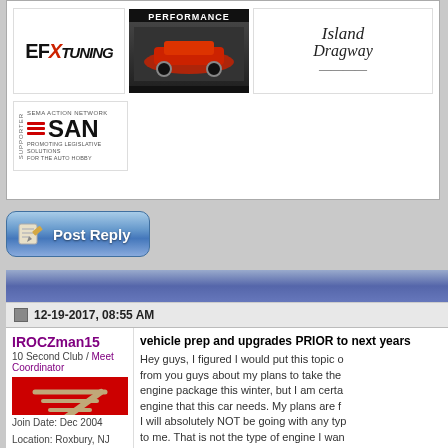[Figure (logo): Sponsor banner area with EFX Tuning logo, Performance banner with car photo, Island Dragway logo, and SAN (SEMA Action Network) supporter logo]
[Figure (screenshot): Post Reply button with paper/pencil icon, blue gradient rounded rectangle]
[Figure (other): Blue gradient header bar for forum thread]
12-19-2017, 08:55 AM
IROCZman15
10 Second Club / Meet Coordinator
Join Date: Dec 2004
Location: Roxbury, NJ
Posts: 2,007
iTrader: (7)
[Figure (photo): Avatar image - red background with silver Z logo]
vehicle prep and upgrades PRIOR to next years
Hey guys, I figured I would put this topic out to get some feedback from you guys about my plans to take the engine package this winter, but I am certain engine that this car needs. My plans are I will absolutely NOT be going with any type to me. That is not the type of engine I want out and shout at me about how there are get amped up about stuff, or my $spending

Sorry this is a long post with lots of writing I am pretty dead set on the major components engines and long blocks, across the net, a and product information. I want a Dart SHI great cylinder heads, topped with a Holley